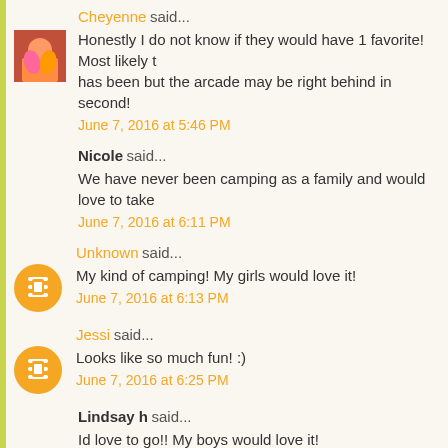Cheyenne said... Honestly I do not know if they would have 1 favorite! Most likely the pool has been but the arcade may be right behind in second! June 7, 2016 at 5:46 PM
Nicole said... We have never been camping as a family and would love to take June 7, 2016 at 6:11 PM
Unknown said... My kind of camping! My girls would love it! June 7, 2016 at 6:13 PM
Jessi said... Looks like so much fun! :) June 7, 2016 at 6:25 PM
Lindsay h said... Id love to go!! My boys would love it! June 7, 2016 at 7:01 PM